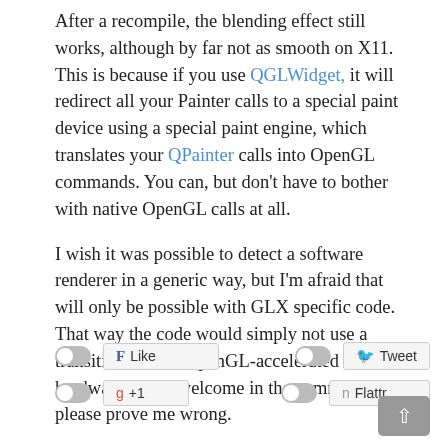After a recompile, the blending effect still works, although by far not as smooth on X11. This is because if you use QGLWidget, it will redirect all your Painter calls to a special paint device using a special paint engine, which translates your QPainter calls into OpenGL commands. You can, but don't have to bother with native OpenGL calls at all.
I wish it was possible to detect a software renderer in a generic way, but I'm afraid that will only be possible with GLX specific code. That way the code would simply not use a transition on non OpenGL-accelerated hardware. Hints welcome in the comments, please prove me wrong.
[Figure (other): Social sharing buttons row 1: toggle icon + Facebook Like button, toggle icon + Twitter Tweet button]
[Figure (other): Social sharing buttons row 2: toggle icon + Google +1 button, toggle icon + Flattr button; scroll-to-top button]